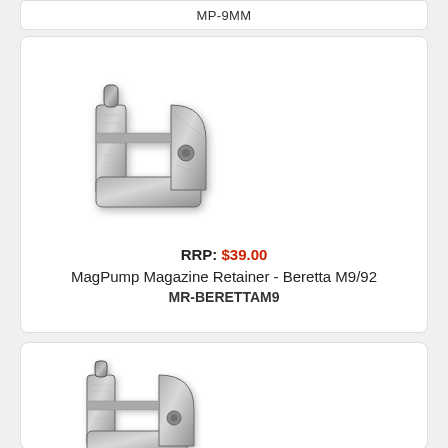MP-9MM
[Figure (photo): MagPump Magazine Retainer metal part - Beretta M9/92, gray cast metal C-shaped bracket with pin and hole]
RRP: $39.00
MagPump Magazine Retainer - Beretta M9/92
MR-BERETTAM9
[Figure (photo): MagPump Magazine Retainer metal part - similar C-shaped bracket, gray cast metal with pin and hole, second product listing]